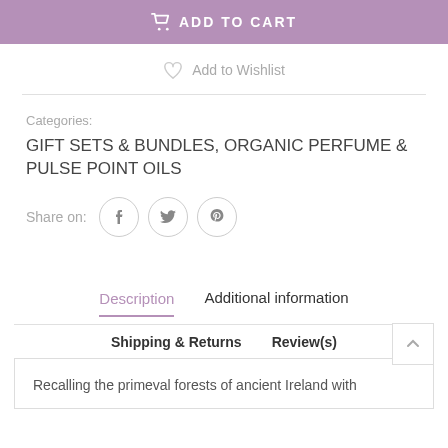ADD TO CART
Add to Wishlist
Categories:
GIFT SETS & BUNDLES, ORGANIC PERFUME & PULSE POINT OILS
Share on:
Description   Additional information   Shipping & Returns   Review(s)
Recalling the primeval forests of ancient Ireland with